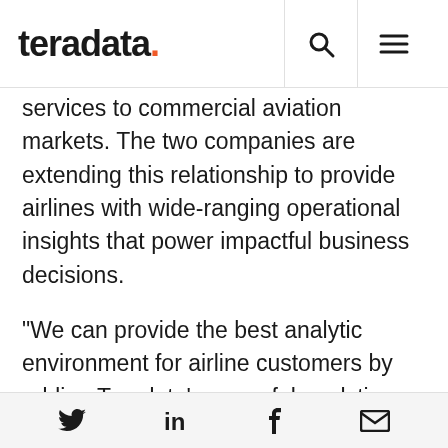teradata.
services to commercial aviation markets. The two companies are extending this relationship to provide airlines with wide-ranging operational insights that power impactful business decisions.
“We can provide the best analytic environment for airline customers by adding Teradata’s powerful analytic solutions with built-in support for hybrid cloud environments,” said John Mansfield, Chief Digital Officer of GE Aviation. “This partnership enables us to bring a holistic framework of enterprise data and business
Twitter LinkedIn Facebook Email